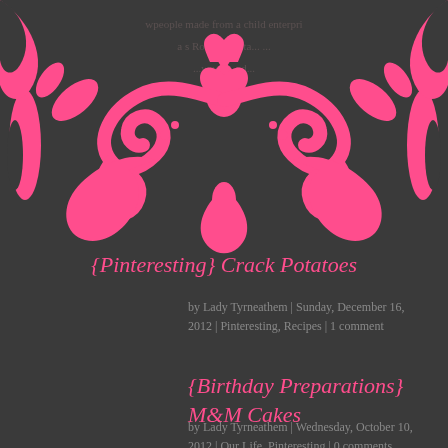[Figure (illustration): Pink floral/damask decorative banner with scrollwork and botanical motifs on dark background, with partially visible text overlay reading 'wpeople made from a child enterpri...s Ro...s on...sta... ...w we...nd...']
{Pinteresting} Crack Potatoes
by Lady Tyrneathem | Sunday, December 16, 2012 | Pinteresting, Recipes | 1 comment
{Birthday Preparations} M&M Cakes
by Lady Tyrneathem | Wednesday, October 10, 2012 | Our Life, Pinteresting | 0 comments